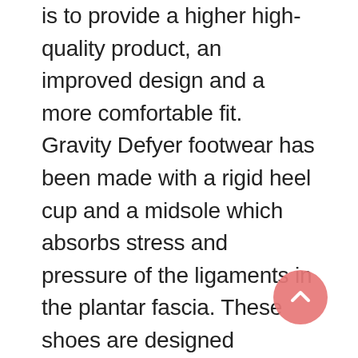is to provide a higher high-quality product, an improved design and a more comfortable fit. Gravity Defyer footwear has been made with a rigid heel cup and a midsole which absorbs stress and pressure of the ligaments in the plantar fascia. These shoes are designed ergonomically to roll when walking which eases strain on this region. The technology employed to design these shoes addresses the factors that contribute to Plantar Fasciitis.

For many, finding the perfect pair of shoes that are well-fitting and suitable for many ailments can be a daunting task. There are many companies advertising their shoes to be an all-purpose footwear brand...